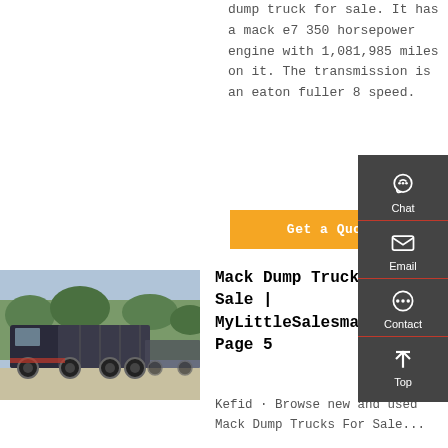dump truck for sale. It has a mack e7 350 horsepower engine with 1,081,985 miles on it. The transmission is an eaton fuller 8 speed.
Get a Quote
[Figure (photo): Photo of Mack dump trucks parked in a row outdoors]
Mack Dump Trucks For Sale | MyLittleSalesman | Page 5
Kefid · Browse new and used Mack Dump Trucks For Sale...